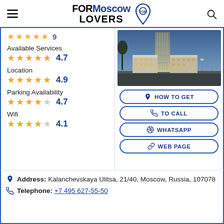FOR Moscow LOVERS
Available Services 4.7
Location 4.9
Parking Availability 4.7
Wifi 4.1
[Figure (photo): Hotel building exterior at dusk/evening, tall tower with lit facade, Moscow]
HOW TO GET
TO CALL
WHATSAPP
WEB PAGE
Address: Kalanchevskaya Ulitsa, 21/40, Moscow, Russia, 107078
Telephone: +7 495 627-55-50